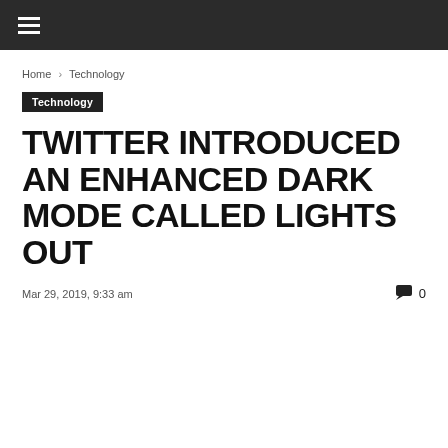≡
Home › Technology
Technology
TWITTER INTRODUCED AN ENHANCED DARK MODE CALLED LIGHTS OUT
Mar 29, 2019, 9:33 am   0